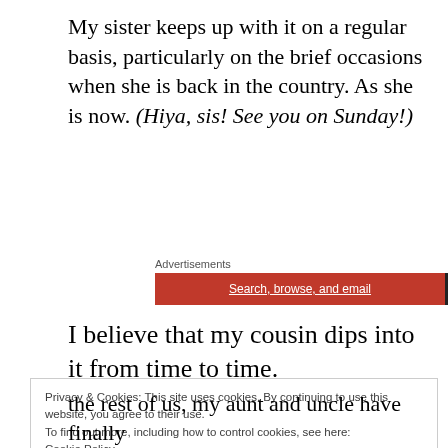My sister keeps up with it on a regular basis, particularly on the brief occasions when she is back in the country. As she is now. (Hiya, sis! See you on Sunday!)
[Figure (other): Advertisement banner with orange and dark sections reading 'Search, browse, and email']
I believe that my cousin dips into it from time to time.
Privacy & Cookies: This site uses cookies. By continuing to use this website, you agree to their use.
To find out more, including how to control cookies, see here:
Cookie Policy
Close and accept
the rest of us, my aunt and uncle have finally